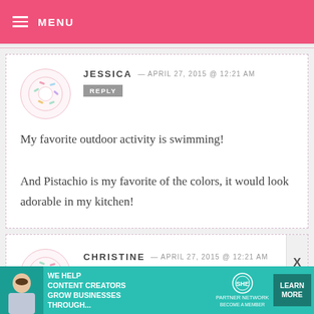MENU
JESSICA — APRIL 27, 2015 @ 12:21 AM  REPLY
My favorite outdoor activity is swimming!
And Pistachio is my favorite of the colors, it would look adorable in my kitchen!
CHRISTINE — APRIL 27, 2015 @ 12:21 AM  REPLY
[Figure (infographic): SHE Partner Network advertisement banner: WE HELP CONTENT CREATORS GROW BUSINESSES THROUGH... LEARN MORE BECOME A MEMBER]